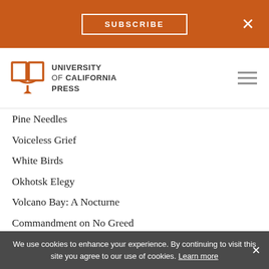SUBSCRIBE
[Figure (logo): University of California Press logo with open book icon and text: UNIVERSITY of CALIFORNIA PRESS]
Pine Needles
Voiceless Grief
White Birds
Okhotsk Elegy
Volcano Bay: A Nocturne
Commandment on No Greed
Love in Religious Mode
Past Desire
Single-Tree Field
Ice Fog in Iihatov
Winter & Galaxy Station
From Spring & Asura (Second Collection)
We use cookies to enhance your experience. By continuing to visit this site you agree to our use of cookies. Learn more